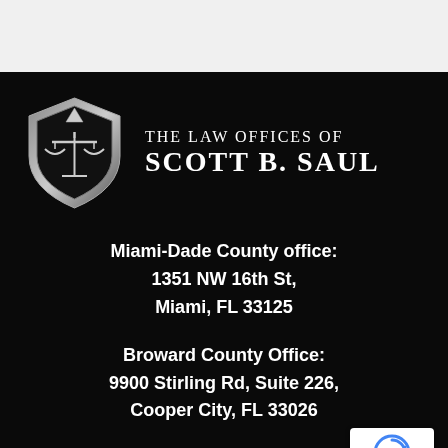[Figure (logo): The Law Offices of Scott B. Saul logo with shield and scales of justice icon on black background]
Miami-Dade County office:
1351 NW 16th St,
Miami, FL 33125
Broward County Office:
9900 Stirling Rd, Suite 226,
Cooper City, FL 33026
[Figure (logo): reCAPTCHA badge with Privacy - Terms text]